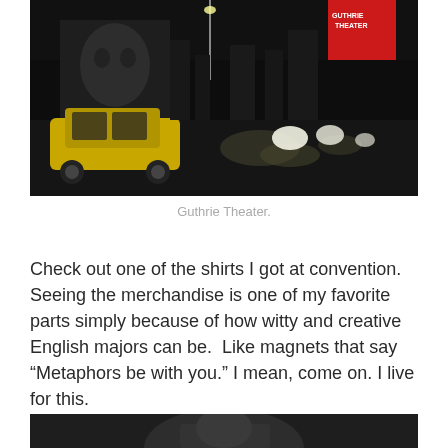[Figure (photo): Night street scene with a yellow taxi cab, wet pavement reflecting lights, and a red illuminated theater sign in the background reading 'Guthrie Theater']
Guthrie Theater.
Check out one of the shirts I got at convention. Seeing the merchandise is one of my favorite parts simply because of how witty and creative English majors can be. Like magnets that say “Metaphors be with you.” I mean, come on. I live for this.
[Figure (photo): Partial view of a person at a table, bottom of page cropped]